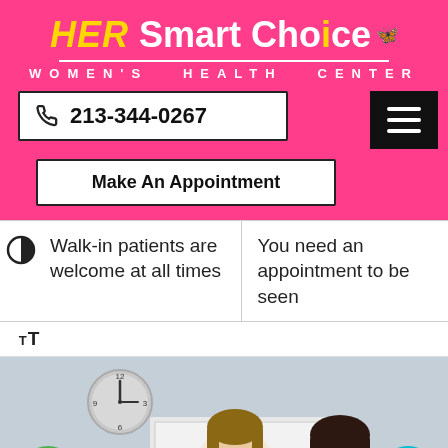HER Smart Choice WOMEN'S HEALTH CENTER
213-344-0267
Make An Appointment
Walk-in patients are welcome at all times
You need an appointment to be seen
[Figure (photo): Doctor in white coat consulting with a patient, wall clock in background]